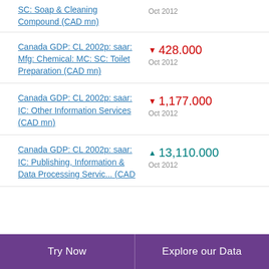SC: Soap & Cleaning Compound (CAD mn) — Oct 2012
Canada GDP: CL 2002p: saar: Mfg: Chemical: MC: SC: Toilet Preparation (CAD mn) — ▼ 428.000 Oct 2012
Canada GDP: CL 2002p: saar: IC: Other Information Services (CAD mn) — ▼ 1,177.000 Oct 2012
Canada GDP: CL 2002p: saar: IC: Publishing, Information & Data Processing Servic... (CAD — ▲ 13,110.000 Oct 2012
Try Now | Explore our Data